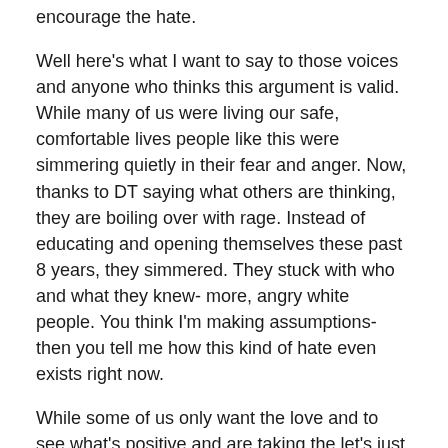encourage the hate.
Well here's what I want to say to those voices and anyone who thinks this argument is valid. While many of us were living our safe, comfortable lives people like this were simmering quietly in their fear and anger. Now, thanks to DT saying what others are thinking, they are boiling over with rage. Instead of educating and opening themselves these past 8 years, they simmered. They stuck with who and what they knew- more, angry white people. You think I'm making assumptions- then you tell me how this kind of hate even exists right now.
While some of us only want the love and to see what's positive and are taking the let's just wait and see approach- the people who have had random acts of hate this week don't have the luxury to wait and see. For the